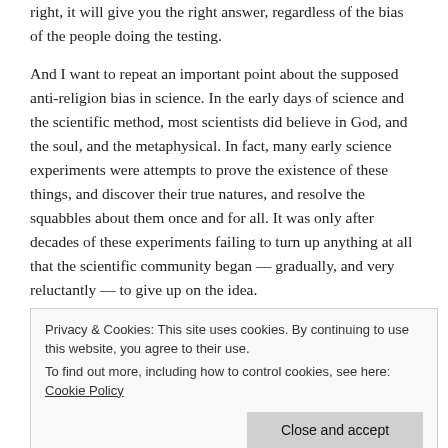right, it will give you the right answer, regardless of the bias of the people doing the testing.
And I want to repeat an important point about the supposed anti-religion bias in science. In the early days of science and the scientific method, most scientists did believe in God, and the soul, and the metaphysical. In fact, many early science experiments were attempts to prove the existence of these things, and discover their true natures, and resolve the squabbles about them once and for all. It was only after decades of these experiments failing to turn up anything at all that the scientific community began — gradually, and very reluctantly — to give up on the idea.
Privacy & Cookies: This site uses cookies. By continuing to use this website, you agree to their use.
To find out more, including how to control cookies, see here: Cookie Policy
evidence that supports what we believe and to discard